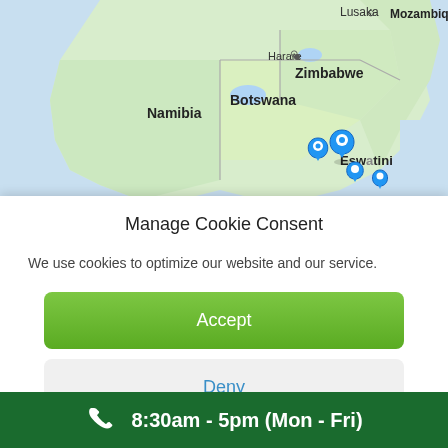[Figure (map): Map showing southern Africa with country labels: Lusaka, Harare, Zimbabwe, Mozambique, Namibia, Botswana, Eswatini. Blue map pin markers cluster around Zimbabwe/Eswatini region.]
Manage Cookie Consent
We use cookies to optimize our website and our service.
Accept
Deny
8:30am - 5pm (Mon - Fri)